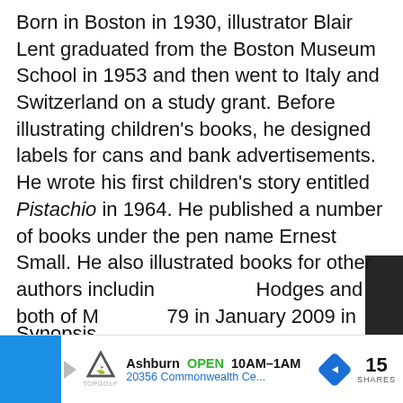Born in Boston in 1930, illustrator Blair Lent graduated from the Boston Museum School in 1953 and then went to Italy and Switzerland on a study grant. Before illustrating children's books, he designed labels for cans and bank advertisements. He wrote his first children's story entitled Pistachio in 1964. He published a number of books under the pen name Ernest Small. He also illustrated books for other authors including Hodges and both of M 79 in January 2009 in
[Figure (screenshot): Partially visible video overlay showing 'THIS DAY IN HISTORY' with a play button and 'SEPTEMBER' label, dark background with people visible]
Synopsis
[Figure (screenshot): Bottom advertisement bar: Topgolf logo, Ashburn OPEN 10AM-1AM, 20356 Commonwealth Ce..., navigation arrow icon, 15 SHARES]